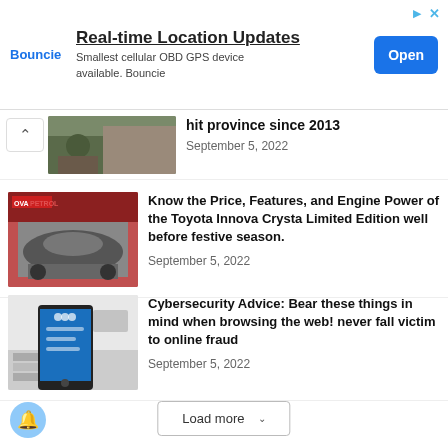[Figure (other): Advertisement banner: Bouncie logo, 'Real-time Location Updates' heading, 'Smallest cellular OBD GPS device available. Bouncie' subtext, and 'Open' button]
[Figure (photo): Partially visible news article thumbnail showing a disaster/rockslide scene]
hit province since 2013
September 5, 2022
[Figure (photo): Toyota Innova Crysta Limited Edition car image with NOVA PETROL branding]
Know the Price, Features, and Engine Power of the Toyota Innova Crysta Limited Edition well before festive season.
September 5, 2022
[Figure (photo): Person holding a smartphone showing a login screen, with a keyboard and glasses in background]
Cybersecurity Advice: Bear these things in mind when browsing the web! never fall victim to online fraud
September 5, 2022
Load more